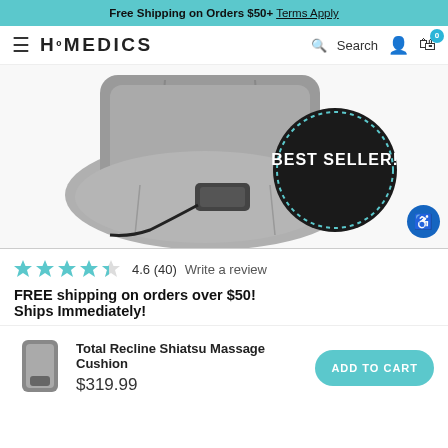Free Shipping on Orders $50+ Terms Apply
HOMEDICS — Search (navigation bar)
[Figure (photo): Gray massage cushion with remote control and a 'BEST SELLER!' badge circle overlay]
4.6 (40)   Write a review
FREE shipping on orders over $50!
Ships Immediately!
Total Recline Shiatsu Massage Cushion
$319.99
ADD TO CART